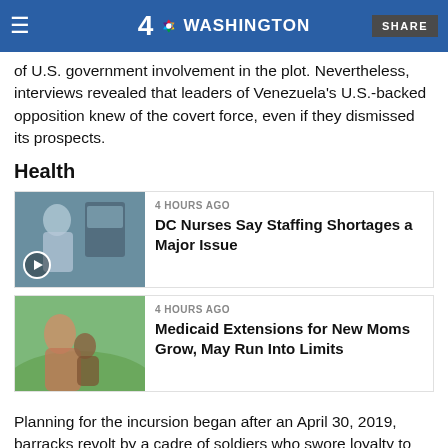NBC 4 Washington — SHARE
of U.S. government involvement in the plot. Nevertheless, interviews revealed that leaders of Venezuela's U.S.-backed opposition knew of the covert force, even if they dismissed its prospects.
Health
[Figure (photo): Photo of a nurse or medical worker from behind at a medical monitor, with a play button overlay]
4 HOURS AGO
DC Nurses Say Staffing Shortages a Major Issue
[Figure (photo): Photo of a woman holding a baby outdoors with green trees in the background]
4 HOURS AGO
Medicaid Extensions for New Moms Grow, May Run Into Limits
Planning for the incursion began after an April 30, 2019, barracks revolt by a cadre of soldiers who swore loyalty to